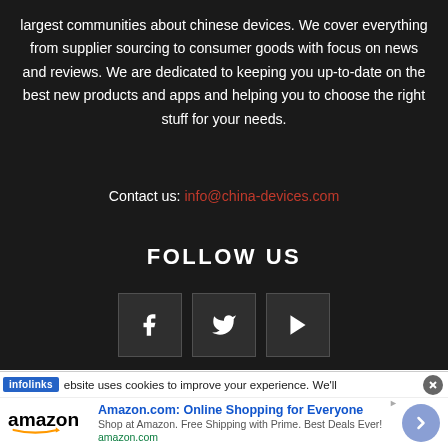largest communities about chinese devices. We cover everything from supplier sourcing to consumer goods with focus on news and reviews. We are dedicated to keeping you up-to-date on the best new products and apps and helping you to choose the right stuff for your needs.
Contact us: info@china-devices.com
FOLLOW US
[Figure (other): Three social media icons in dark boxes: Facebook (f), Twitter (bird), YouTube (play button)]
infolinks  ebsite uses cookies to improve your experience. We'll
[Figure (other): Amazon advertisement banner: Amazon.com: Online Shopping for Everyone. Shop at Amazon. Free Shipping with Prime. Best Deals Ever! amazon.com]